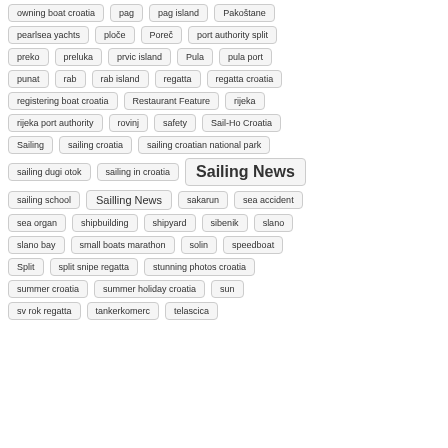owning boat croatia, pag, pag island, Pakoštane
pearlsea yachts, ploče, Poreč, port authority split
preko, preluka, prvic island, Pula, pula port
punat, rab, rab island, regatta, regatta croatia
registering boat croatia, Restaurant Feature, rijeka
rijeka port authority, rovinj, safety, Sail-Ho Croatia
Sailing, sailing croatia, sailing croatian national park
sailing dugi otok, sailing in croatia, Sailing News
sailing school, Sailling News, sakarun, sea accident
sea organ, shipbuilding, shipyard, sibenik, slano
slano bay, small boats marathon, solin, speedboat
Split, split snipe regatta, stunning photos croatia
summer croatia, summer holiday croatia, sun
sv rok regatta, tankerkomerc, telascica